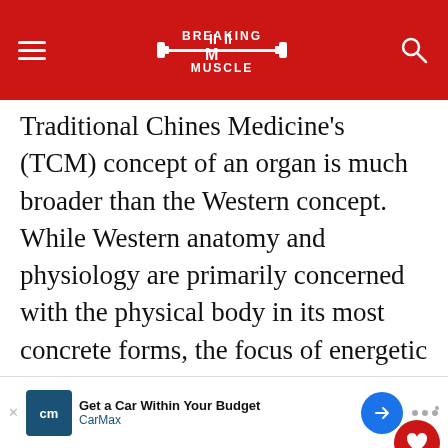Breaking Muscle
Traditional Chinese Medicine's (TCM) concept of an organ is much broader than the Western concept. While Western anatomy and physiology are primarily concerned with the physical body in its most concrete forms, the focus of energetic anatomy and physiology in TCM is on the underlying patterns of energy that animate and sustain the physical form.[14]
Given the conceptual differences between Western and Eastern medicine, it is paramount to build connections between the two philosophies.
[Figure (screenshot): What's Next card showing Bodybuilder Michal...]
Advertisement: Get a Car Within Your Budget - CarMax